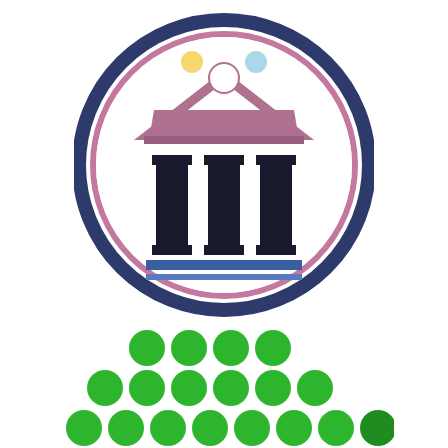[Figure (logo): Institutional logo: a circle with dark navy outer ring and pink/mauve inner ring. Inside the circle is a mauve/pink roof/pediment shape with a white circle (person head silhouette) at center top and a yellow circle at left and light blue circle at right. Below the pediment are three black I-beam/column shapes representing pillars, and below them two horizontal blue lines.]
[Figure (illustration): A triangular arrangement of green filled circles (dots) forming a stacked pattern: bottom row has 8 dots, middle row has 6 dots, top row has 4 dots, arranged in a pyramid/triangle shape.]